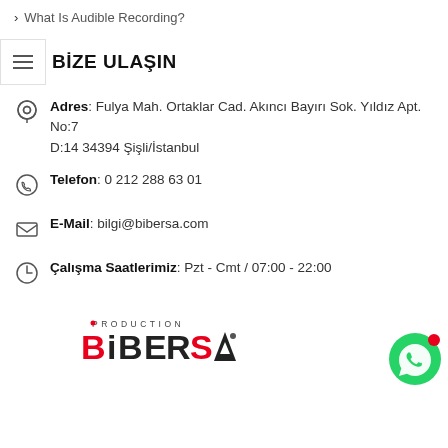› What Is Audible Recording?
BİZE ULAŞIN
Adres: Fulya Mah. Ortaklar Cad. Akıncı Bayırı Sok. Yıldız Apt. No:7 D:14 34394 Şişli/İstanbul
Telefon: 0 212 288 63 01
E-Mail: bilgi@bibersa.com
Çalışma Saatlerimiz: Pzt - Cmt / 07:00 - 22:00
[Figure (logo): Bibersa Production logo with red and black text, triangular graphic element]